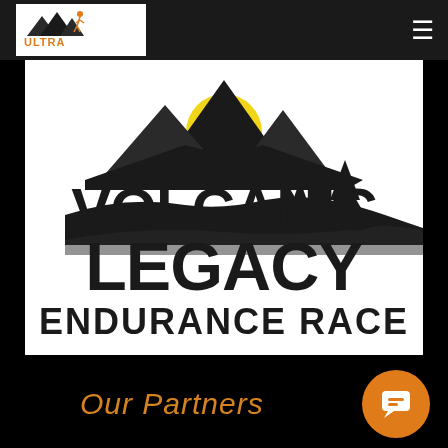Ultra Excuses — navigation header with logo and hamburger menu
[Figure (logo): Volcanic Legacy Endurance Race logo: bold black text 'VOLCANIC LEGACY' with mountain and pine tree silhouette, below reads 'ENDURANCE RACE' in bold black condensed font, on white background with yellow accent behind mountain peak]
Our Partners